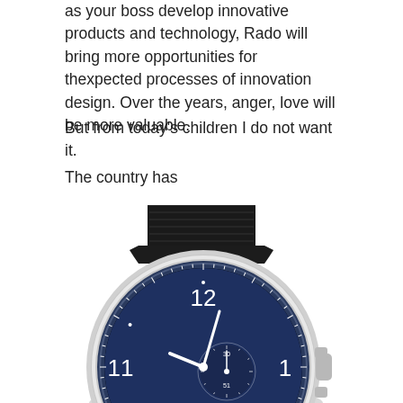as your boss develop innovative products and technology, Rado will bring more opportunities for thexpected processes of innovation design. Over the years, anger, love will be more valuable.
But from today's children I do not want it.
The country has
[Figure (photo): IWC Schaffhausen Portugieser Chronograph Automatic watch with blue dial and black leather strap, showing the lower band, case, and dial portion including numerals 9, 10, 11, 12, 1, 2, 3 and subdials, with CHRONOGRAPH AUTOMATIC and IWC SCHAFFHAUSEN text visible.]